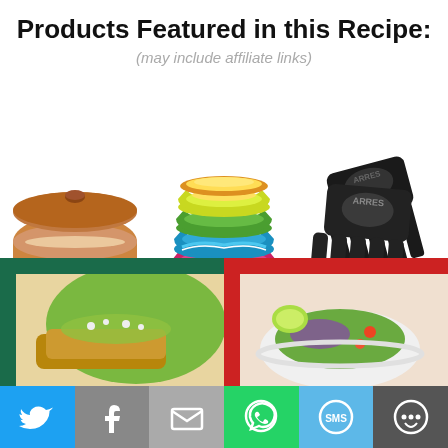Products Featured in this Recipe:
(may include affiliate links)
[Figure (photo): Tortilla Warmer - terracotta clay pot with lid and red chili peppers]
Tortilla Warmer
[Figure (photo): Salsa Bowls - stack of colorful striped ceramic bowls]
Salsa Bowls
[Figure (photo): Shredder Claws - black plastic meat shredder claws branded ARRES]
Shredder Claws
[Figure (photo): Food photo left - enchiladas with green sauce and toppings on dark green background card]
[Figure (photo): Food photo right - salad bowl with lime on red background card]
[Figure (infographic): Social sharing bar with Twitter, Facebook, Email, WhatsApp, SMS, More buttons]